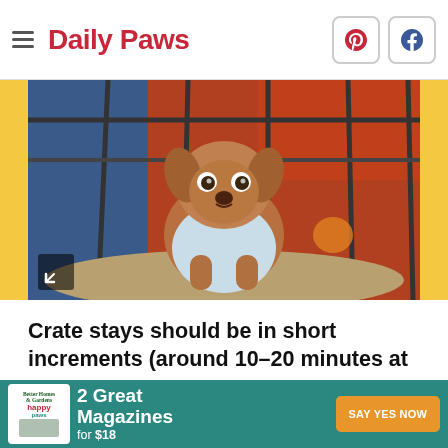Daily Paws
[Figure (photo): A small brown Chihuahua or Miniature Pinscher wearing a light blue shirt, sitting inside a wire dog crate, looking up at the camera with wide eyes. Colorful bedding and toys visible in the background.]
Crate stays should be in short increments (around 10–20 minutes at a time)
[Figure (infographic): Advertisement banner: Better Homes & Gardens / Happy Paws magazines. '2 Great Magazines for $18' with 'SAY YES NOW' button on teal background.]